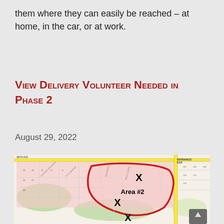them where they can easily be reached – at home, in the car, or at work.
View Delivery Volunteer Needed in Phase 2
August 29, 2022
[Figure (map): Street map showing Area #2 outlined in red with X markers indicating delivery volunteer needed locations in Phase 2 of a residential neighborhood. A yellow road runs along the right side labeled ENTRANCE/EXIT. The top road is labeled 48TH AVE.]